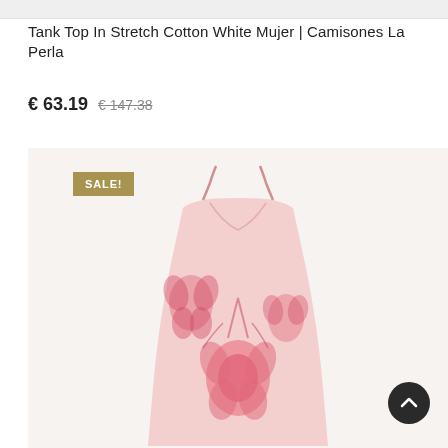Tank Top In Stretch Cotton White Mujer | Camisones La Perla
€ 63.19  € 147.38
[Figure (photo): Product photo of a pink floral spaghetti-strap tank top/camisole on a light beige background, with a golden 'SALE!' badge overlay in the top-left corner and a dark circular scroll-to-top button in the bottom-right corner.]